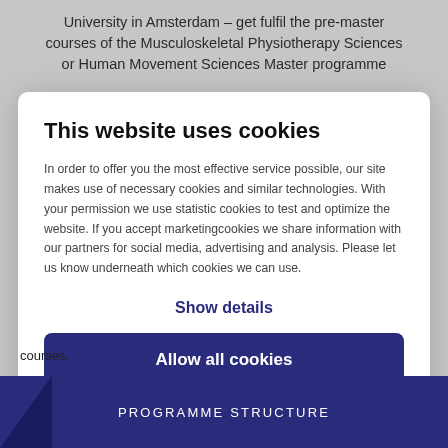University in Amsterdam – get fulfil the pre-master courses of the Musculoskeletal Physiotherapy Sciences or Human Movement Sciences Master programme
This website uses cookies
In order to offer you the most effective service possible, our site makes use of necessary cookies and similar technologies. With your permission we use statistic cookies to test and optimize the website. If you accept marketingcookies we share information with our partners for social media, advertising and analysis. Please let us know underneath which cookies we can use.
Show details
Allow all cookies
courses.
PROGRAMME STRUCTURE